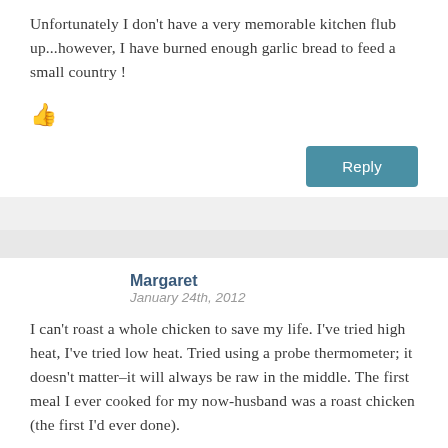Unfortunately I don't have a very memorable kitchen flub up...however, I have burned enough garlic bread to feed a small country !
[Figure (other): Thumbs up icon (like button)]
Reply
Margaret
January 24th, 2012
I can't roast a whole chicken to save my life. I've tried high heat, I've tried low heat. Tried using a probe thermometer; it doesn't matter–it will always be raw in the middle. The first meal I ever cooked for my now-husband was a roast chicken (the first I'd ever done).